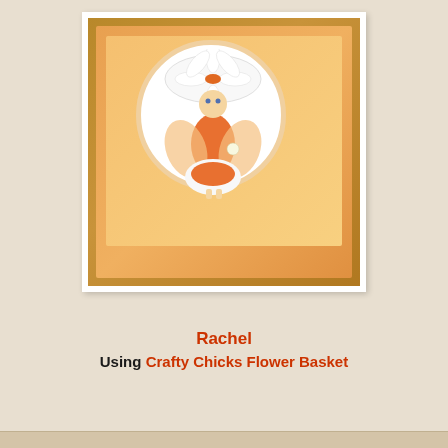[Figure (photo): A handmade craft card featuring a fairy/flower girl character in orange and white colors, decorated with paper roses, hearts, lace trim, and a circular sentiment reading 'Love the Little things'. The card has a kraft paper background with orange patterned layers.]
Rachel
Using Crafty Chicks Flower Basket